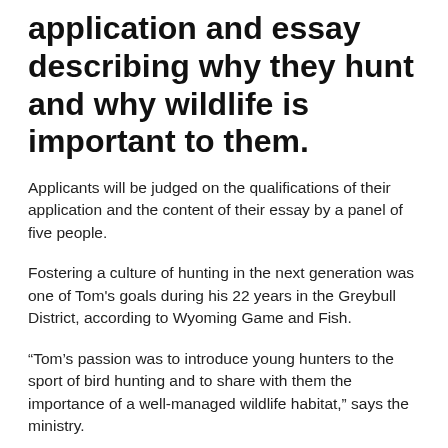application and essay describing why they hunt and why wildlife is important to them.
Applicants will be judged on the qualifications of their application and the content of their essay by a panel of five people.
Fostering a culture of hunting in the next generation was one of Tom's goals during his 22 years in the Greybull District, according to Wyoming Game and Fish.
“Tom’s passion was to introduce young hunters to the sport of bird hunting and to share with them the importance of a well-managed wildlife habitat,” says the ministry.
Applications can be downloaded from the Wyoming Game and Fish website and are available at the Cody Region Game and Fish office.
Nominations for the Tom Easterly Memorial